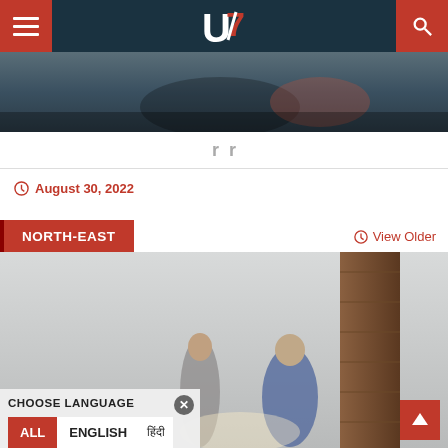U7 News — Navigation header with hamburger menu, logo, and search icon
[Figure (photo): Partial news hero image at top, blurred photo of people]
r  r
August 30, 2022
NORTH-EAST
View Older
[Figure (photo): News article photo showing two people in an indoor setting, one in blue jacket]
CHOOSE LANGUAGE
ALL
ENGLISH
हिंदी